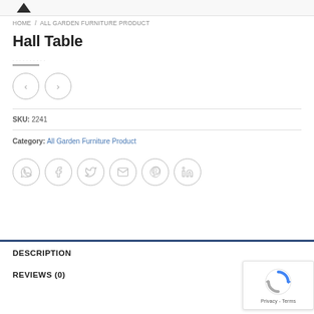HOME / ALL GARDEN FURNITURE PRODUCT
Hall Table
SKU: 2241
Category: All Garden Furniture Product
[Figure (illustration): Social share icons: WhatsApp, Facebook, Twitter, Email, Pinterest, LinkedIn — circular outlined buttons]
DESCRIPTION
REVIEWS (0)
[Figure (other): reCAPTCHA badge with Privacy - Terms text]